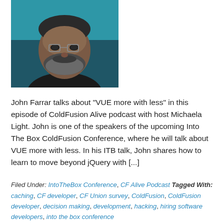[Figure (photo): Headshot of a middle-aged man with glasses, salt-and-pepper beard, wearing a dark shirt, against a teal/blue background.]
John Farrar talks about “VUE more with less” in this episode of ColdFusion Alive podcast with host Michaela Light. John is one of the speakers of the upcoming Into The Box ColdFusion Conference, where he will talk about VUE more with less. In his ITB talk, John shares how to learn to move beyond jQuery with [...]
Filed Under: IntoTheBox Conference, CF Alive Podcast Tagged With: caching, CF developer, CF Union survey, ColdFusion, ColdFusion developer, decision making, development, hacking, hiring software developers, into the box conference
017 Managing an